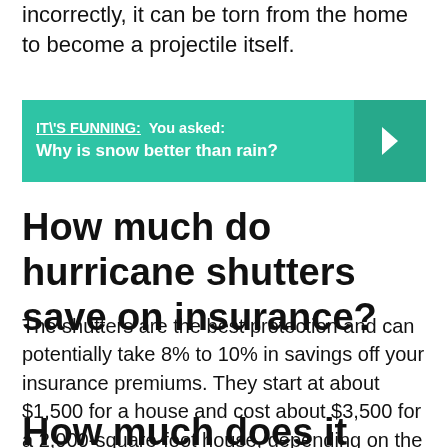incorrectly, it can be torn from the home to become a projectile itself.
[Figure (infographic): Teal banner with text: IT\'S FUNNING: You asked: Why is snow better than rain? with a right-arrow button on the right side.]
How much do hurricane shutters save on insurance?
The shutters are the best protection and can potentially take 8% to 10% in savings off your insurance premiums. They start at about $1,500 for a house and cost about $3,500 for a 2,000-square-foot house, depending on the number of openings.
How much does it cost to